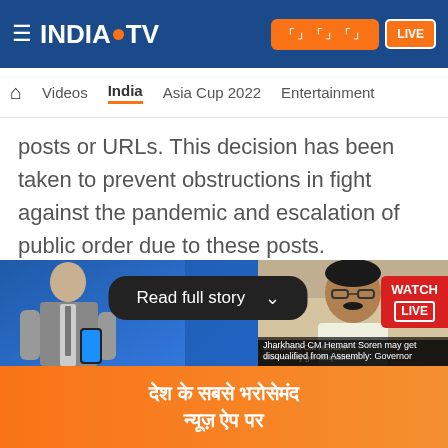[Figure (screenshot): India TV news website screenshot showing top navigation bar with logo, Hindi button, LIVE button, navigation menu with Videos, India (active), Asia Cup 2022, Entertainment]
posts or URLs. This decision has been taken to prevent obstructions in fight against the pandemic and escalation of public order due to these posts.
It is pertinent to ... when the
[Figure (screenshot): Read full story button overlay with chevron, and WATCH LIVE badge on the right]
[Figure (photo): Bottom banner with India TV app advertisement showing anchor man, Hindi text 'हर ख... देश के सबसे भरोसेमंद न्यूज़ ऐप पर' on orange background, and thumbnail of Jharkhand CM Hemant Soren with caption 'Jharkhand CM Hemant Soren may get disqualified from Assembly: Governor']